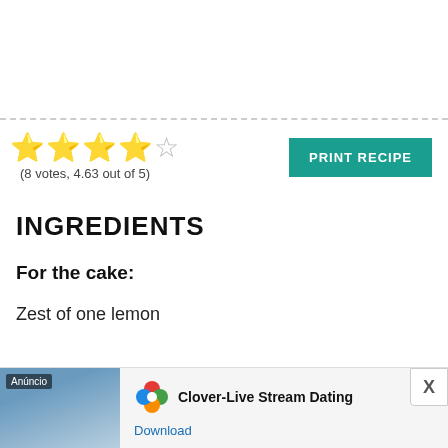[Figure (other): Star rating: 4 filled gold stars and 1 half/empty star, rating (8 votes, 4.63 out of 5)]
(8 votes, 4.63 out of 5)
INGREDIENTS
For the cake:
Zest of one lemon
[Figure (photo): Advertisement banner: Anúncio label, woman on beach photo, Clover app logo, 'Clover-Live Stream Dating', Download link]